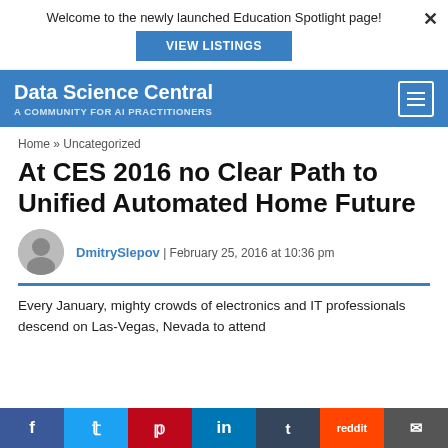Welcome to the newly launched Education Spotlight page!
VIEW LISTINGS
Data Science Central — A COMMUNITY FOR AI PRACTITIONERS
Home » Uncategorized
At CES 2016 no Clear Path to Unified Automated Home Future
DmitrySlepov | February 25, 2016 at 10:36 pm
Every January, mighty crowds of electronics and IT professionals descend on Las-Vegas, Nevada to attend
f  t  p  in  t  reddit  mail